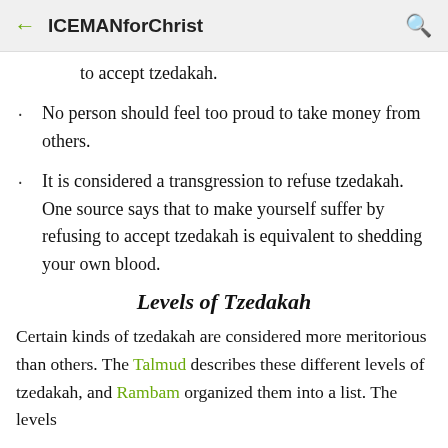ICEMANforChrist
to accept tzedakah.
No person should feel too proud to take money from others.
It is considered a transgression to refuse tzedakah. One source says that to make yourself suffer by refusing to accept tzedakah is equivalent to shedding your own blood.
Levels of Tzedakah
Certain kinds of tzedakah are considered more meritorious than others. The Talmud describes these different levels of tzedakah, and Rambam organized them into a list. The levels